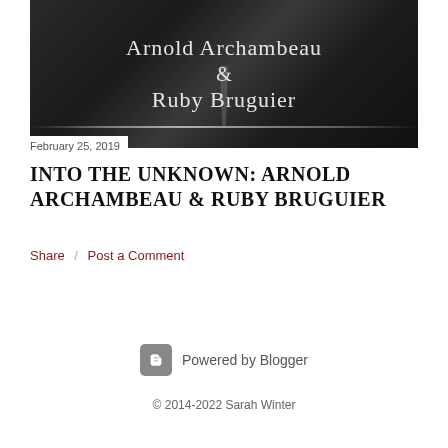[Figure (photo): Dark moody black and white photo of a road receding into fog/mist, with white lane markings visible. Overlaid with white serif text reading 'Arnold Archambeau & Ruby Bruguier'.]
February 25, 2019
INTO THE UNKNOWN: ARNOLD ARCHAMBEAU & RUBY BRUGUIER
Share   Post a Comment
Powered by Blogger
© 2014-2022 Sarah Winter